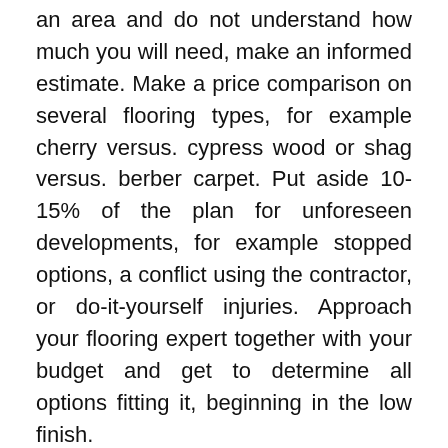an area and do not understand how much you will need, make an informed estimate. Make a price comparison on several flooring types, for example cherry versus. cypress wood or shag versus. berber carpet. Put aside 10-15% of the plan for unforeseen developments, for example stopped options, a conflict using the contractor, or do-it-yourself injuries. Approach your flooring expert together with your budget and get to determine all options fitting it, beginning in the low finish.
Think About Your Work Ethic
The ground option always looks pretty inside a sample, securely hidden on the store shelf. However, you should not purchase a floor style according to looks anymore than you'd adopt a dog without thinking about its behavior and requires. The best-searching floors might